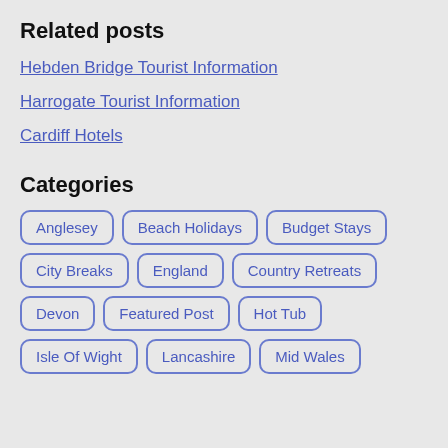Related posts
Hebden Bridge Tourist Information
Harrogate Tourist Information
Cardiff Hotels
Categories
Anglesey
Beach Holidays
Budget Stays
City Breaks
England
Country Retreats
Devon
Featured Post
Hot Tub
Isle Of Wight
Lancashire
Mid Wales